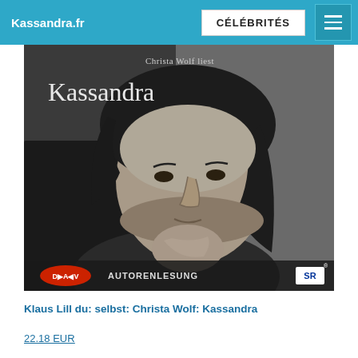Kassandra.fr  CÉLÉBRITÉS
[Figure (photo): Black and white book cover photo showing a woman with dark hair resting her chin on her hand. Text reads 'Christa Wolf liest Kassandra' at top, 'DAV AUTORENLESUNG' and 'SR' logos at bottom.]
Klaus Lill du: selbst: Christa Wolf: Kassandra
22.18 EUR